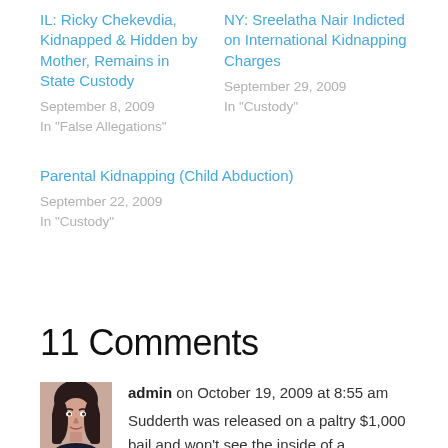IL: Ricky Chekevdia, Kidnapped & Hidden by Mother, Remains in State Custody
September 8, 2009
In "False Allegations"
NY: Sreelatha Nair Indicted on International Kidnapping Charges
September 29, 2009
In "Custody"
Parental Kidnapping (Child Abduction)
September 22, 2009
In "Custody"
11 Comments
[Figure (photo): Avatar photo of admin user, showing a woman with dark hair]
admin on October 19, 2009 at 8:55 am
Sudderth was released on a paltry $1,000 bail and won't see the inside of a courtroom until